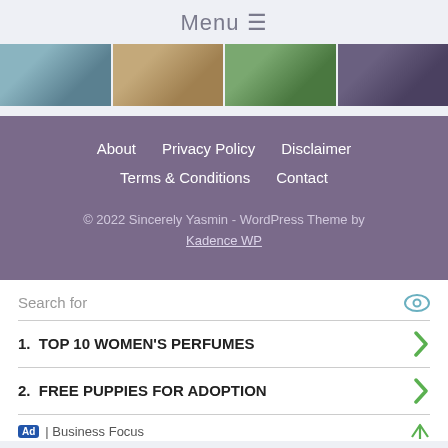Menu ≡
[Figure (photo): Horizontal strip of four thumbnail images: teal/blue tones, brown box/package, green plant/card, dark silhouettes]
About   Privacy Policy   Disclaimer   Terms & Conditions   Contact
© 2022 Sincerely Yasmin - WordPress Theme by Kadence WP
Search for
1.  TOP 10 WOMEN'S PERFUMES
2.  FREE PUPPIES FOR ADOPTION
Ad | Business Focus